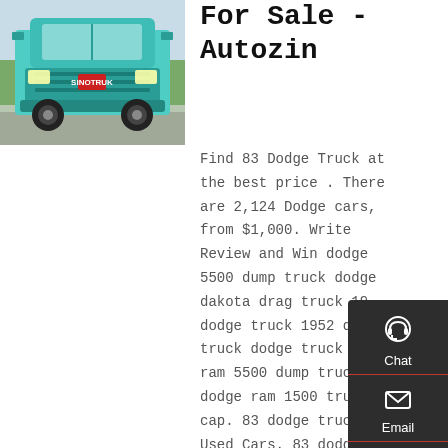[Figure (photo): Front view of a teal/turquoise heavy dump truck (Sinotruk/HOWO style) parked outdoors with trees in background.]
For Sale - Autozin
Find 83 Dodge Truck at the best price . There are 2,124 Dodge cars, from $1,000. Write Review and Win dodge 5500 dump truck dodge dakota drag truck 19 dodge truck 1952 dodge truck dodge truck dodge ram 5500 dump truck dodge ram 1500 truck cap. 83 dodge truck - Used Cars. 83 dodge
[Figure (infographic): Dark sidebar widget with three buttons: Chat (headset icon), Email (envelope icon), Contact (speech bubble icon), and Top (up arrow icon). Each section separated by a red horizontal line.]